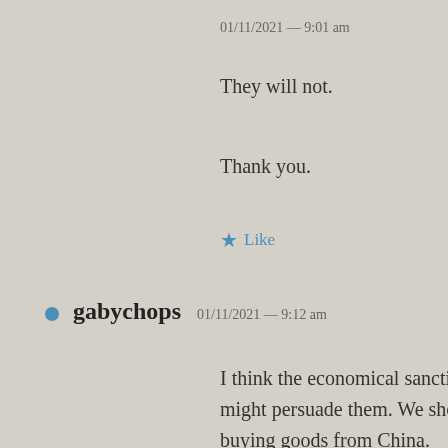01/11/2021 — 9:01 am
They will not.
Thank you.
★ Like
gabychops  01/11/2021 — 9:12 am
I think the economical sanctions might persuade them. We should stop buying goods from China.